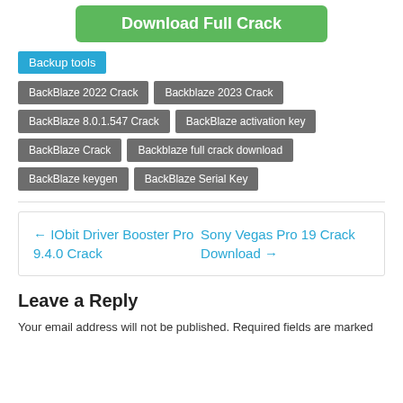[Figure (other): Green Download Full Crack button]
Backup tools
BackBlaze 2022 Crack
Backblaze 2023 Crack
BackBlaze 8.0.1.547 Crack
BackBlaze activation key
BackBlaze Crack
Backblaze full crack download
BackBlaze keygen
BackBlaze Serial Key
← IObit Driver Booster Pro 9.4.0 Crack
Sony Vegas Pro 19 Crack Download →
Leave a Reply
Your email address will not be published. Required fields are marked